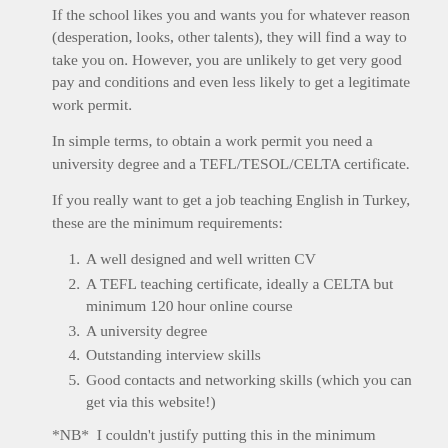If the school likes you and wants you for whatever reason (desperation, looks, other talents), they will find a way to take you on.  However, you are unlikely to get very good pay and conditions and even less likely to get a legitimate work permit.
In simple terms, to obtain a work permit you need a university degree and a TEFL/TESOL/CELTA certificate.
If you really want to get a job teaching English in Turkey, these are the minimum requirements:
A well designed and well written CV
A TEFL teaching certificate, ideally a CELTA but minimum 120 hour online course
A university degree
Outstanding interview skills
Good contacts and networking skills (which you can get via this website!)
*NB*  I couldn't justify putting this in the minimum requirements list but it is worth noting that having a residence permit is a huge advantage.  See below for